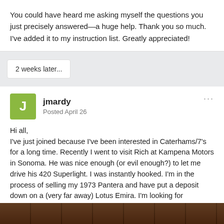You could have heard me asking myself the questions you just precisely answered—a huge help. Thank you so much. I've added it to my instruction list. Greatly appreciated!
2 weeks later...
jmardy
Posted April 26
Hi all,
I've just joined because I've been interested in Caterhams/7's for a long time. Recently I went to visit Rich at Kampena Motors in Sonoma. He was nice enough (or evil enough?) to let me drive his 420 Superlight. I was instantly hooked. I'm in the process of selling my 1973 Pantera and have put a deposit down on a (very far away) Lotus Emira. I'm looking for something to fill the void and the Caterham does it for me. But so does an Elise so I have some thinking to do. First world problems, as the kids say...
[Figure (photo): Dark photo strip at the bottom, appears to show a brick wall or outdoor scene]